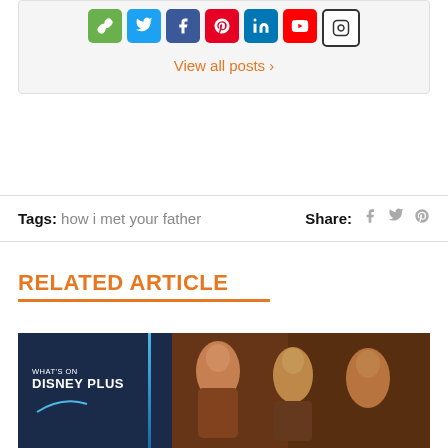[Figure (screenshot): Social media icons row: link, Twitter, Facebook, Pinterest, LinkedIn, YouTube, Instagram]
View all posts ›
Tags: how i met your father   Share: f 🐦 p
RELATED ARTICLE
[Figure (photo): What's On Disney Plus logo on dark blue background, with cast photo of How I Met Your Father]